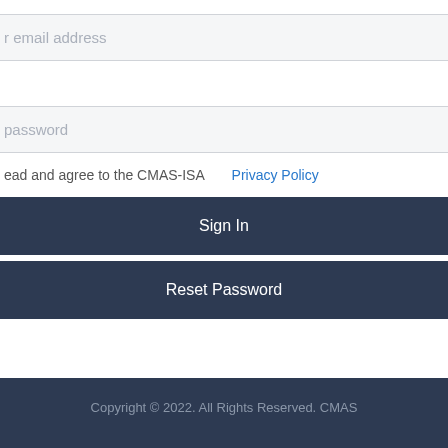email address
password
ead and agree to the CMAS-ISA  Privacy Policy
Sign In
Reset Password
Copyright © 2022. All Rights Reserved. CMAS